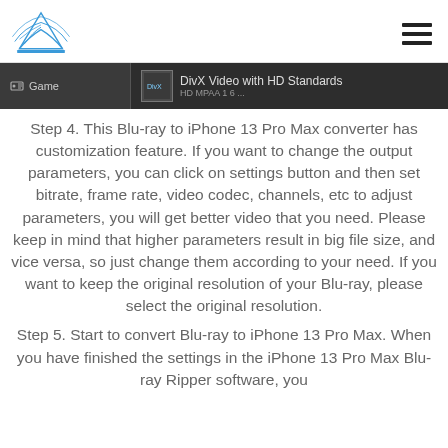Logo and navigation header
[Figure (screenshot): Software screenshot showing Game option and DivX Video with HD Standards selection in a dark-themed UI]
Step 4. This Blu-ray to iPhone 13 Pro Max converter has customization feature. If you want to change the output parameters, you can click on settings button and then set bitrate, frame rate, video codec, channels, etc to adjust parameters, you will get better video that you need. Please keep in mind that higher parameters result in big file size, and vice versa, so just change them according to your need. If you want to keep the original resolution of your Blu-ray, please select the original resolution.
Step 5. Start to convert Blu-ray to iPhone 13 Pro Max. When you have finished the settings in the iPhone 13 Pro Max Blu-ray Ripper software, you